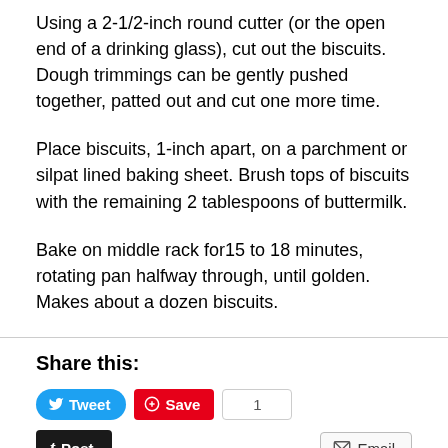Using a 2-1/2-inch round cutter (or the open end of a drinking glass), cut out the biscuits. Dough trimmings can be gently pushed together, patted out and cut one more time.
Place biscuits, 1-inch apart, on a parchment or silpat lined baking sheet. Brush tops of biscuits with the remaining 2 tablespoons of buttermilk.
Bake on middle rack for15 to 18 minutes, rotating pan halfway through, until golden. Makes about a dozen biscuits.
Share this:
Tweet | Save | 1 | Post | Email